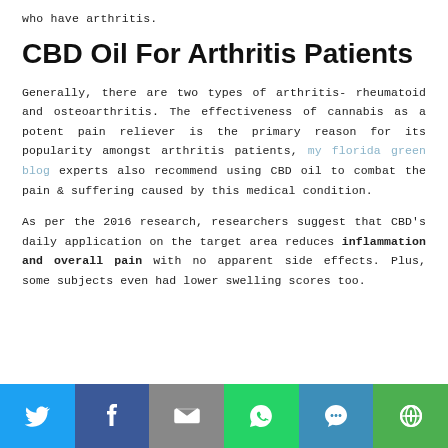who have arthritis.
CBD Oil For Arthritis Patients
Generally, there are two types of arthritis- rheumatoid and osteoarthritis. The effectiveness of cannabis as a potent pain reliever is the primary reason for its popularity amongst arthritis patients, my florida green blog experts also recommend using CBD oil to combat the pain & suffering caused by this medical condition.
As per the 2016 research, researchers suggest that CBD's daily application on the target area reduces inflammation and overall pain with no apparent side effects. Plus, some subjects even had lower swelling scores too.
[Figure (infographic): Social sharing bar with icons for Twitter, Facebook, Email, WhatsApp, SMS, and More sharing options]